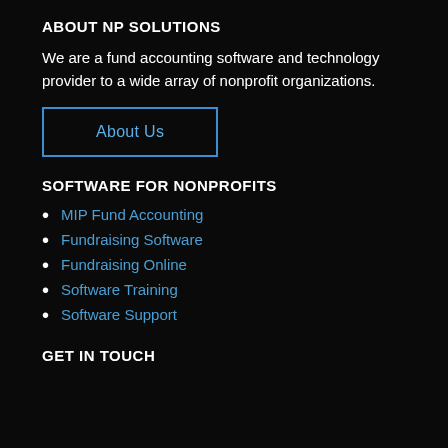ABOUT NP SOLUTIONS
We are a fund accounting software and technology provider to a wide array of nonprofit organizations.
[Figure (other): Blue-bordered button labeled 'About Us']
SOFTWARE FOR NONPROFITS
MIP Fund Accounting
Fundraising Software
Fundraising Online
Software Training
Software Support
GET IN TOUCH